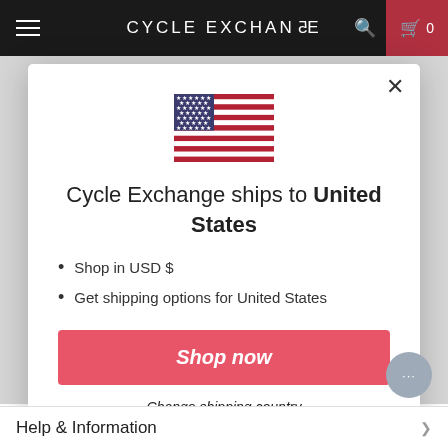CYCLE EXCHANGE
[Figure (illustration): United States flag emoji/icon]
Cycle Exchange ships to United States
Shop in USD $
Get shipping options for United States
Shop now
Change shipping country
Help & Information